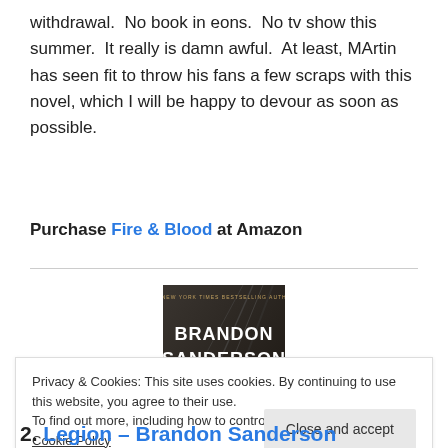withdrawal.  No book in eons.  No tv show this summer.  It really is damn awful.  At least, MArtin has seen fit to throw his fans a few scraps with this novel, which I will be happy to devour as soon as possible.
Purchase Fire & Blood at Amazon
[Figure (photo): Book cover image showing Brandon Sanderson author name in large white text on a dark moody background]
Privacy & Cookies: This site uses cookies. By continuing to use this website, you agree to their use.
To find out more, including how to control cookies, see here: Cookie Policy
Close and accept
2. Legion – Brandon Sanderson